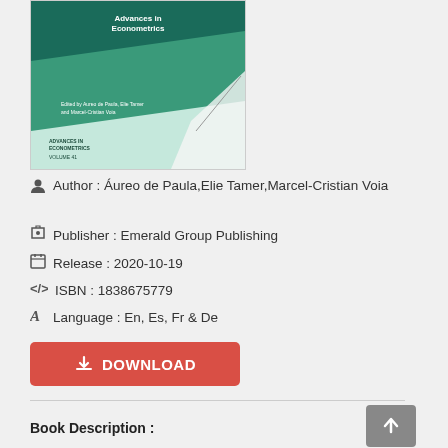[Figure (illustration): Book cover for 'Advances in Econometrics Volume 41', edited by Aureo de Paula, Elie Tamer and Marcel-Cristian Voia. Green diagonal design with white text.]
Author : Áureo de Paula,Elie Tamer,Marcel-Cristian Voia
Publisher : Emerald Group Publishing
Release : 2020-10-19
ISBN : 1838675779
Language : En, Es, Fr & De
DOWNLOAD
Book Description :